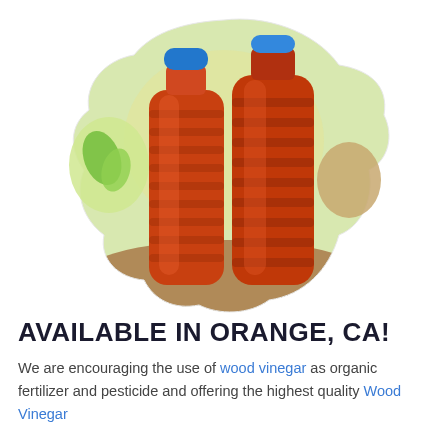[Figure (photo): Two amber/red plastic bottles with ribbed bodies and blue caps, containing wood vinegar, displayed against a blurred outdoor background with soil and green plants, clipped into an organic blob/amoeba shape.]
AVAILABLE IN ORANGE, CA!
We are encouraging the use of wood vinegar as organic fertilizer and pesticide and offering the highest quality Wood Vinegar